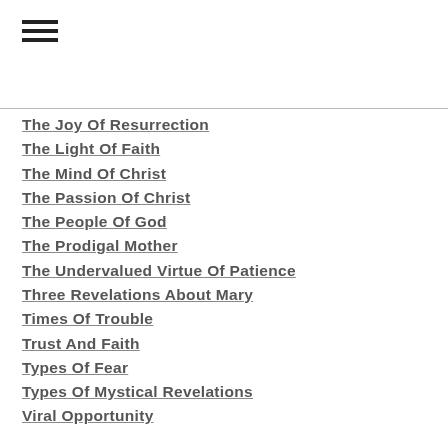The Joy Of Resurrection
The Light Of Faith
The Mind Of Christ
The Passion Of Christ
The People Of God
The Prodigal Mother
The Undervalued Virtue Of Patience
Three Revelations About Mary
Times Of Trouble
Trust And Faith
Types Of Fear
Types Of Mystical Revelations
Viral Opportunity